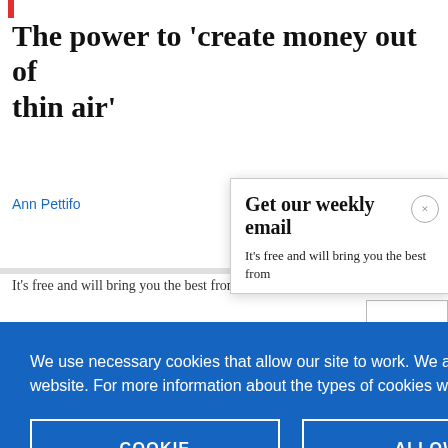The power to 'create money out of thin air'
Ann Pettifo
Get our weekly email
It's free and will bring you the best from
We use necessary cookies that allow our site to work. We also set optional cookies that help us improve our website. For more information about the types of cookies we use. READ OUR COOKIES POLICY HERE
COOKIE SETTINGS
ALLOW ALL COOKIES
data.
An ope